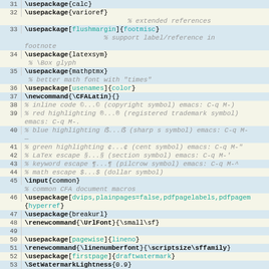[Figure (screenshot): Source code listing showing LaTeX preamble lines 31-55 with line numbers, syntax highlighting. Commands like \usepackage, \newcommand, \renewcommand are shown in bold, optional arguments in teal/green, and comments in italic gray.]